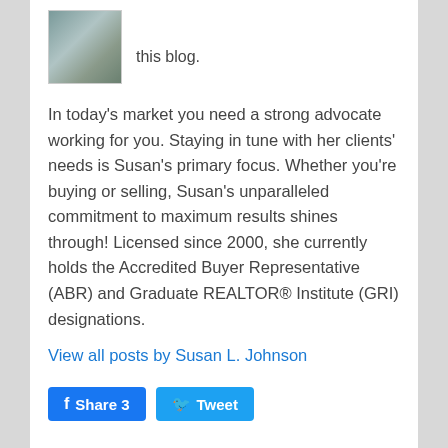[Figure (photo): Small portrait photo of Susan L. Johnson in the top left corner]
this blog.
In today's market you need a strong advocate working for you. Staying in tune with her clients' needs is Susan's primary focus. Whether you're buying or selling, Susan's unparalleled commitment to maximum results shines through! Licensed since 2000, she currently holds the Accredited Buyer Representative (ABR) and Graduate REALTOR® Institute (GRI) designations.
View all posts by Susan L. Johnson
Share 3
Tweet